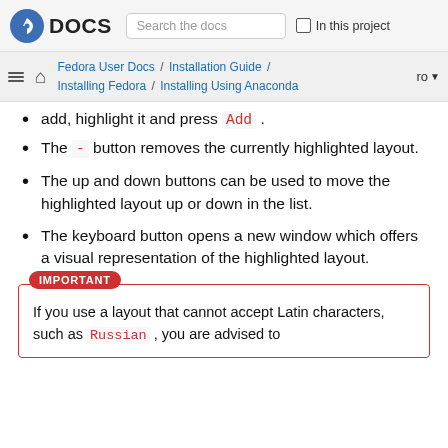Fedora DOCS | Search the docs | In this project
Fedora User Docs / Installation Guide / Installing Fedora / Installing Using Anaconda | ro
add, highlight it and press Add .
The - button removes the currently highlighted layout.
The up and down buttons can be used to move the highlighted layout up or down in the list.
The keyboard button opens a new window which offers a visual representation of the highlighted layout.
IMPORTANT
If you use a layout that cannot accept Latin characters, such as Russian , you are advised to